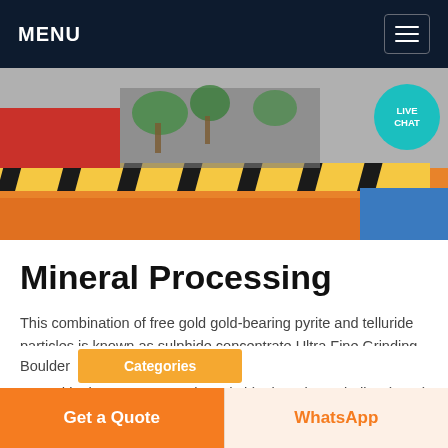MENU
[Figure (photo): Industrial plant interior showing machinery, yellow and black hazard striping on equipment, red and orange surfaces, and green plants in background. A teal 'LIVE CHAT' bubble overlays the top-right corner.]
Mineral Processing
This combination of free gold gold-bearing pyrite and telluride particles is known as sulphide concentrate Ultra Fine Grinding The concentrate is dried by filtering before it is then either treated in the 10 tonne per hour (tph) Ultra Fine Grinding (UFG) Mill at Fimiston or is trucked to the Gidji Processing Plant 20 kilometres north of Kalgoorlie-Boulder
Get a Quote
WhatsApp